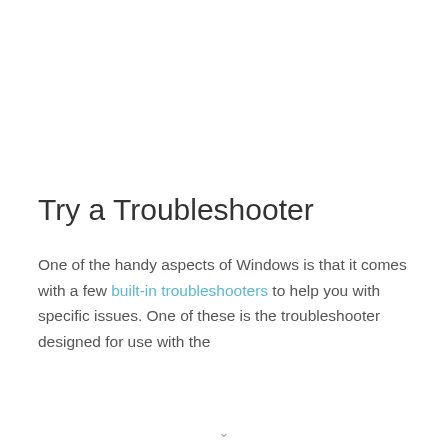Try a Troubleshooter
One of the handy aspects of Windows is that it comes with a few built-in troubleshooters to help you with specific issues. One of these is the troubleshooter designed for use with the